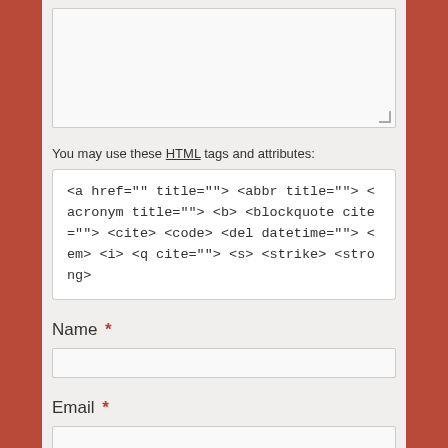You may use these HTML tags and attributes:
<a href="" title=""> <abbr title=""> <acronym title=""> <b> <blockquote cite=""> <cite> <code> <del datetime=""> <em> <i> <q cite=""> <s> <strike> <strong>
Name *
Email *